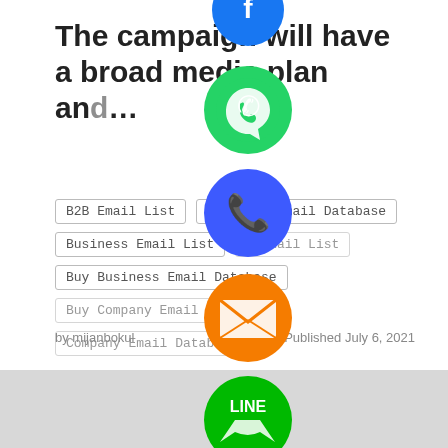The campaign will have a broad media plan and ...
B2B Email List
Business Email Database
Business Email List
B Email List
Buy Business Email Database
Buy Company Email Database
Company Email Database
by mijanbokul
Published July 6, 2021
[Figure (illustration): Social media sharing icons vertically stacked: blue circle (partially visible), green WhatsApp icon, blue phone icon, orange email icon, green LINE icon, purple Viber icon, green close/X button. Gray section at bottom.]